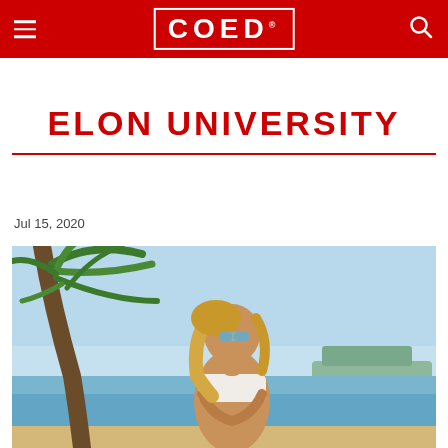COED
ELON UNIVERSITY
Jul 15, 2020
[Figure (photo): Woman in white bandeau bikini top standing on a tropical beach under palm tree fronds, looking to the side, with blue ocean and sky in background]